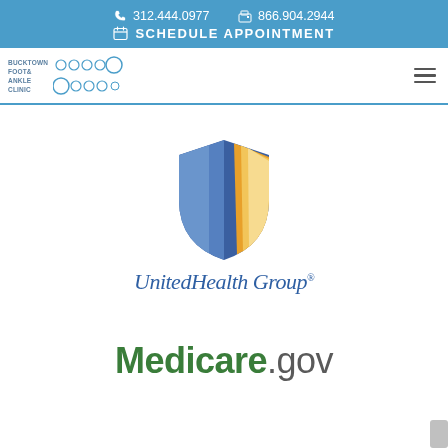312.444.0977  866.904.2944  SCHEDULE APPOINTMENT
[Figure (logo): Bucktown Foot & Ankle Clinic logo with circles pattern]
[Figure (logo): UnitedHealth Group logo — shield icon in blue and gold with company name]
[Figure (logo): Medicare.gov logo in green text]